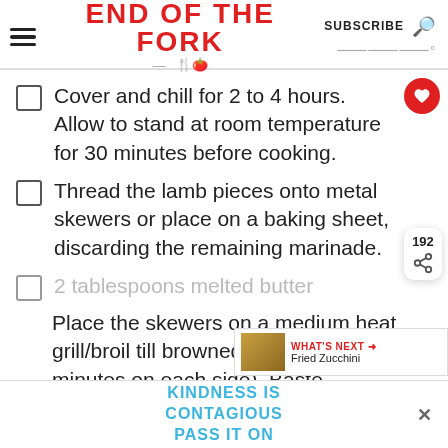END OF THE FORK | SUBSCRIBE
Cover and chill for 2 to 4 hours. Allow to stand at room temperature for 30 minutes before cooking.
Thread the lamb pieces onto metal skewers or place on a baking sheet, discarding the remaining marinade.
2 tablespoons melted butter
Place the skewers on a medium heat grill/broil till browned (around 6-8 minutes on each side). Baste
KINDNESS IS CONTAGIOUS PASS IT ON